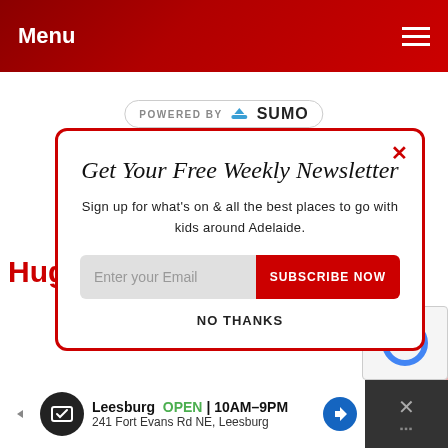Menu
[Figure (screenshot): POWERED BY SUMO badge with crown icon]
Get Your Free Weekly Newsletter
Sign up for what's on & all the best places to go with kids around Adelaide.
Enter your Email  SUBSCRIBE NOW
NO THANKS
Hug
[Figure (screenshot): reCAPTCHA widget]
[Figure (screenshot): Advertisement bar: Leesburg OPEN 10AM-9PM 241 Fort Evans Rd NE, Leesburg]